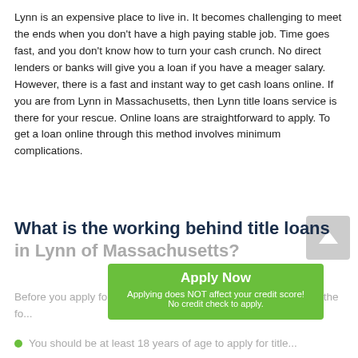Lynn is an expensive place to live in. It becomes challenging to meet the ends when you don't have a high paying stable job. Time goes fast, and you don't know how to turn your cash crunch. No direct lenders or banks will give you a loan if you have a meager salary. However, there is a fast and instant way to get cash loans online. If you are from Lynn in Massachusetts, then Lynn title loans service is there for your rescue. Online loans are straightforward to apply. To get a loan online through this method involves minimum complications.
What is the working behind title loans in Lynn of Massachusetts?
Apply Now
Applying does NOT affect your credit score!
No credit check to apply.
Before you apply for title loans in Lynn, you should make sure of the fo...
You should be at least 18 years of age to apply for title...